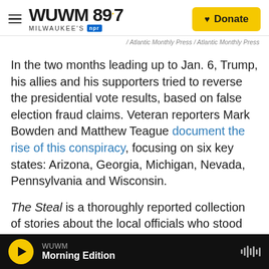WUWM 89.7 Milwaukee's NPR — Donate
/ Atlantic Monthly Press / Atlantic Monthly Press
In the two months leading up to Jan. 6, Trump, his allies and his supporters tried to reverse the presidential vote results, based on false election fraud claims. Veteran reporters Mark Bowden and Matthew Teague document the rise of this conspiracy, focusing on six key states: Arizona, Georgia, Michigan, Nevada, Pennsylvania and Wisconsin.
The Steal is a thoroughly reported collection of stories about the local officials who stood resolute
WUWM Morning Edition